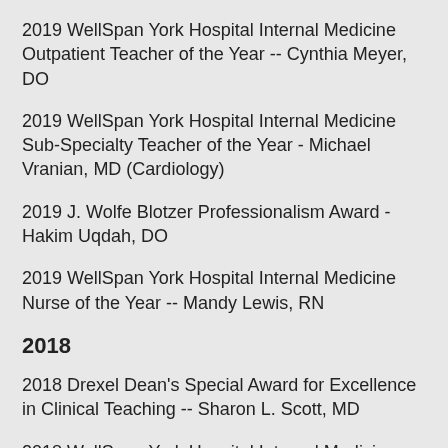2019 WellSpan York Hospital Internal Medicine Outpatient Teacher of the Year -- Cynthia Meyer, DO
2019 WellSpan York Hospital Internal Medicine Sub-Specialty Teacher of the Year - Michael Vranian, MD (Cardiology)
2019 J. Wolfe Blotzer Professionalism Award - Hakim Uqdah, DO
2019 WellSpan York Hospital Internal Medicine Nurse of the Year -- Mandy Lewis, RN
2018
2018 Drexel Dean's Special Award for Excellence in Clinical Teaching -- Sharon L. Scott, MD
2018 WellSpan York Hospital Internal Medicine Resident of the Year -- R. Cameron Brammer, MD